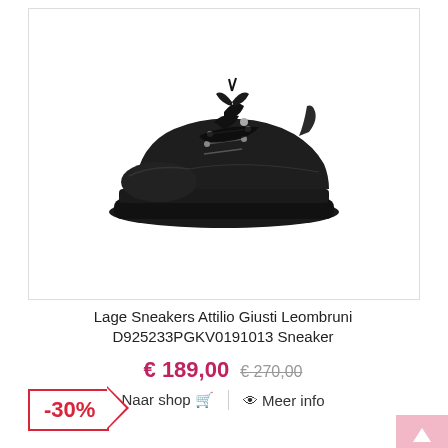[Figure (photo): Black leather low-top sneaker with ribbon/tassel laces and thick platform sole, shown from the side on white background]
Lage Sneakers Attilio Giusti Leombruni D925233PGKV0191013 Sneaker
€ 189,00 € 270,00
Naar shop 🛒 | 👁 Meer info
-30%